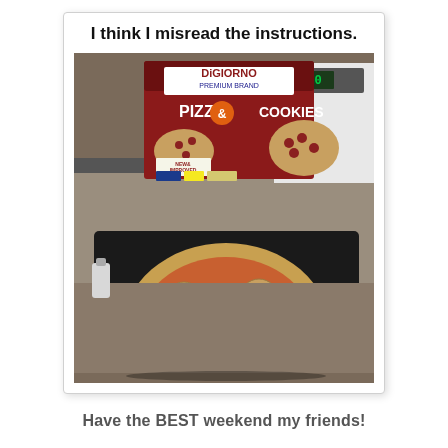[Figure (photo): A meme consisting of a photo of a DiGiorno Pizza & Cookies box placed behind a baking pan on a stovetop. On the pan is a pizza topped with what appear to be cookies instead of cheese, with pepperoni visible. The box shows 'DIGIORNO PIZZA & COOKIES NEW & IMPROVED CRUST!' branding. The image is framed in a white card with border. The caption inside the card reads 'I think I misread the instructions.']
Have the BEST weekend my friends!